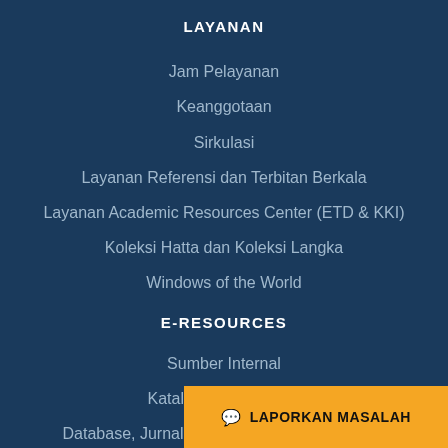LAYANAN
Jam Pelayanan
Keanggotaan
Sirkulasi
Layanan Referensi dan Terbitan Berkala
Layanan Academic Resources Center (ETD & KKI)
Koleksi Hatta dan Koleksi Langka
Windows of the World
E-RESOURCES
Sumber Internal
Katalog Jurnal Online
Database, Jurnal, dan Buku Elektronik Online
LAPORKAN MASALAH